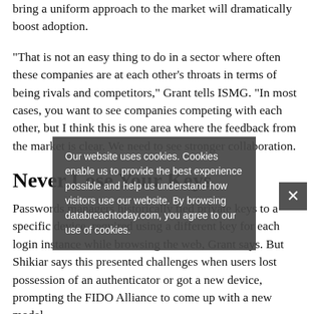bring a uniform approach to the market will dramatically boost adoption.
"That is not an easy thing to do in a sector where often these companies are at each other's throats in terms of being rivals and competitors," Grant tells ISMG. "In most cases, you want to see companies competing with each other, but I think this is one area where the feedback from the market is clear. We need to see stronger collabora...
Never Lose Your Keys
Passwords managers historically tied private keys to a specific device, required using a different key for each login instance while browsing the web, Grant says. But Shikiar says this presented challenges when users lost possession of an authenticator or got a new device, prompting the FIDO Alliance to come up with a new model
Our website uses cookies. Cookies enable us to provide the best experience possible and help us understand how visitors use our website. By browsing databreachtoday.com, you agree to our use of cookies.